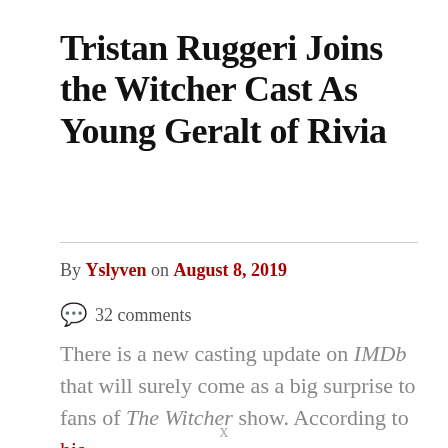Tristan Ruggeri Joins the Witcher Cast As Young Geralt of Rivia
By Yslyven on August 8, 2019
💬 32 comments
There is a new casting update on IMDb that will surely come as a big surprise to fans of The Witcher show. According to his